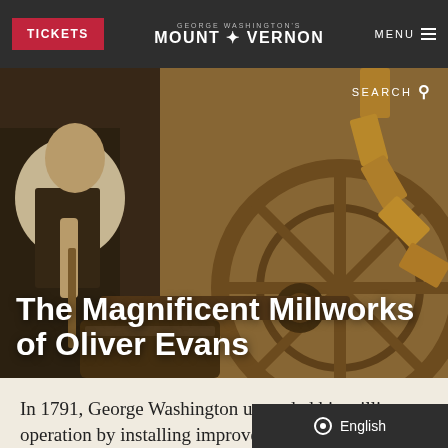TICKETS | GEORGE WASHINGTON'S MOUNT + VERNON | MENU
[Figure (photo): A person in colonial-era clothing operating wooden millwork machinery, with large wooden gears visible in the background.]
The Magnificent Millworks of Oliver Evans
In 1791, George Washington upgraded his milling operation by installing improvements invented by Oliver Evans
English